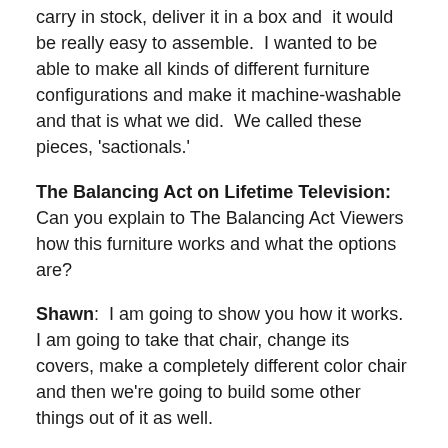We're trying to develop a sofa that we could actually carry in stock, deliver it in a box and it would be really easy to assemble. I wanted to be able to make all kinds of different furniture configurations and make it machine-washable and that is what we did. We called these pieces, 'sactionals.'
The Balancing Act on Lifetime Television: Can you explain to The Balancing Act Viewers how this furniture works and what the options are?
Shawn: I am going to show you how it works. I am going to take that chair, change its covers, make a completely different color chair and then we're going to build some other things out of it as well.
The Balancing Act on Lifetime Television: well that sounds like a tall order. Let's check it out.